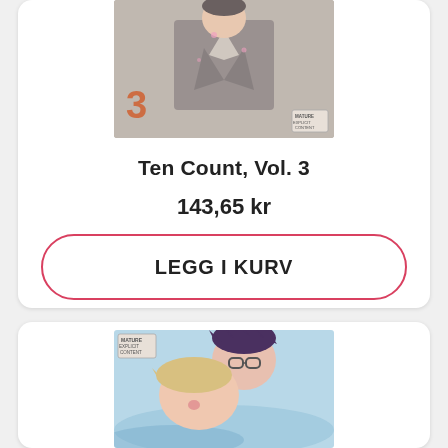[Figure (illustration): Book cover for Ten Count Vol. 3 manga - shows anime character in grey suit with number 3 and explicit content badge]
Ten Count, Vol. 3
143,65 kr
LEGG I KURV
[Figure (illustration): Book cover for another manga volume - shows two anime characters in an intimate scene with explicit content badge, pink and blue tones]